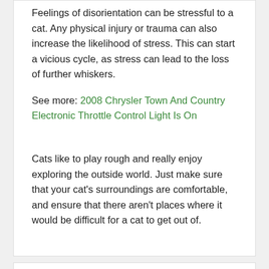Feelings of disorientation can be stressful to a cat. Any physical injury or trauma can also increase the likelihood of stress. This can start a vicious cycle, as stress can lead to the loss of further whiskers.
See more: 2008 Chrysler Town And Country Electronic Throttle Control Light Is On
Cats like to play rough and really enjoy exploring the outside world. Just make sure that your cat's surroundings are comfortable, and ensure that there aren't places where it would be difficult for a cat to get out of.
Related Posts